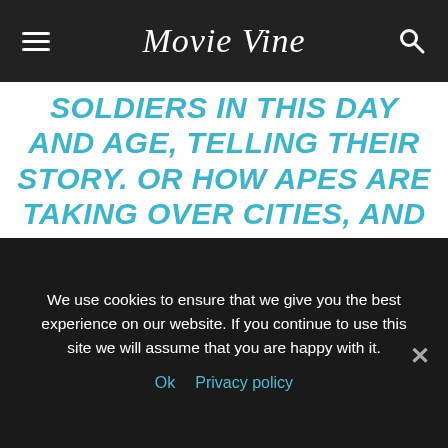Movie Vine
SOLDIERS IN THIS DAY AND AGE, TELLING THEIR STORY. OR HOW APES ARE TAKING OVER CITIES, AND BEING MOVED INTO HUMAN ENVIRONMENTS AND HAVING TO INTERACT WITH THEM AND DEAL WITH THINGS THAT ARE PART OF OUR CULTURE AND UNDERSTAND AND EVOLVE THROUGH THEM. SPIES THAT ARE IN THE EMPLOY OF THE APES, WORKING
We use cookies to ensure that we give you the best experience on our website. If you continue to use this site we will assume that you are happy with it.
Ok   Privacy policy